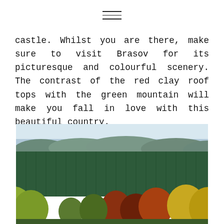— (decorative lines)
castle. Whilst you are there, make sure to visit Brasov for its picturesque and colourful scenery. The contrast of the red clay roof tops with the green mountain will make you fall in love with this beautiful country.
[Figure (photo): A photograph of forested mountains with autumn-coloured trees in the foreground and dense evergreen forest covering the mountainside behind, with a pale blue sky above.]